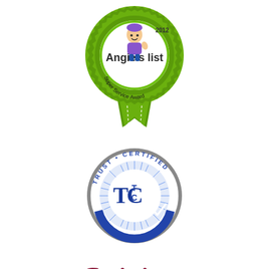[Figure (logo): Angie's List 2012 Super Service Award badge - green ribbon/rosette with cartoon character]
[Figure (logo): Trust Certified (TC) circular seal logo in blue and grey]
[Figure (logo): Spirit of Enterprise Award 2004 - script text logo in dark red/maroon]